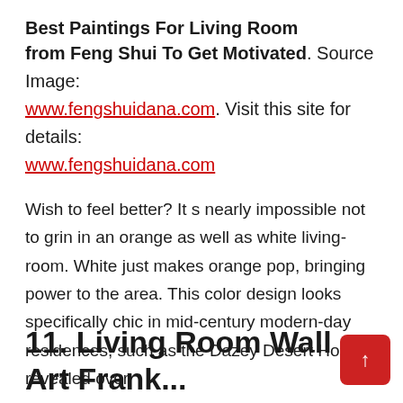Best Paintings For Living Room from Feng Shui To Get Motivated. Source Image: www.fengshuidana.com. Visit this site for details: www.fengshuidana.com
Wish to feel better? It s nearly impossible not to grin in an orange as well as white living-room. White just makes orange pop, bringing power to the area. This color design looks specifically chic in mid-century modern-day residences, such as the Dazey Desert Home revealed over.
11. Living Room Wall Art Frank... Arte